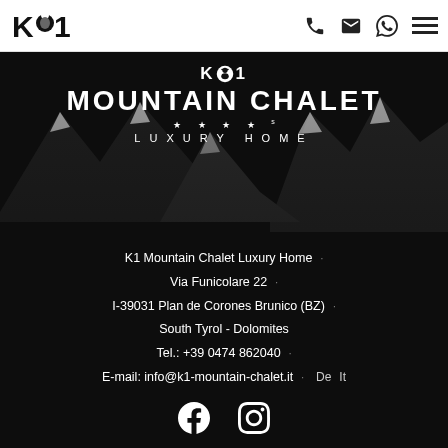[Figure (logo): K1 Mountain Chalet logo with skier icon in top-left nav bar]
[Figure (illustration): Mountain silhouette illustration with snowy peaks on dark background, with K1 Mountain Chalet Luxury Home logo overlay in white text]
K1 Mountain Chalet Luxury Home
Via Funicolare 22
I-39031 Plan de Corones Brunico (BZ)
South Tyrol - Dolomites
Tel.: +39 0474 862040
E-mail: info@k1-mountain-chalet.it
[Figure (logo): Facebook and Instagram social media icons in white at the bottom of the page]